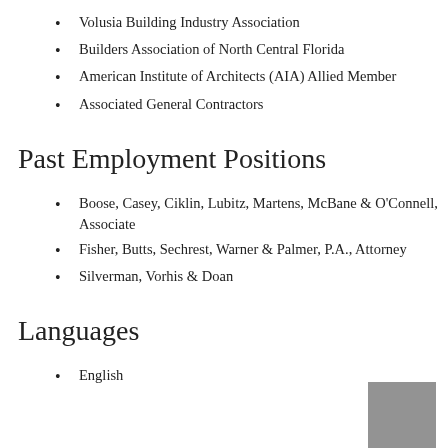Volusia Building Industry Association
Builders Association of North Central Florida
American Institute of Architects (AIA) Allied Member
Associated General Contractors
Past Employment Positions
Boose, Casey, Ciklin, Lubitz, Martens, McBane & O'Connell, Associate
Fisher, Butts, Sechrest, Warner & Palmer, P.A., Attorney
Silverman, Vorhis & Doan
Languages
English